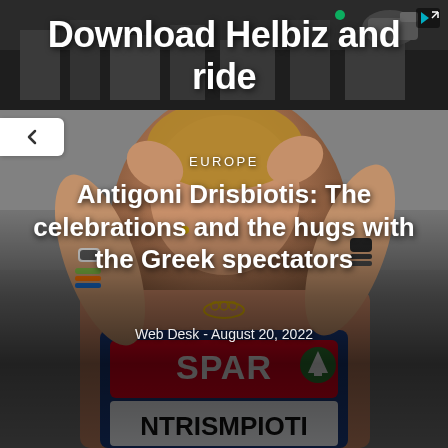[Figure (photo): Advertisement banner showing 'Download Helbiz and ride' text with camera/street background and close button]
[Figure (photo): Photo of Antigoni Drisbiotis (Ntrismpioti) celebrating, wearing a blue Greek national team uniform with SPAR logo, hands raised to her head, smiling/laughing. Dark overlay over the photo with text overlaid.]
EUROPE
Antigoni Drisbiotis: The celebrations and the hugs with the Greek spectators
Web Desk - August 20, 2022